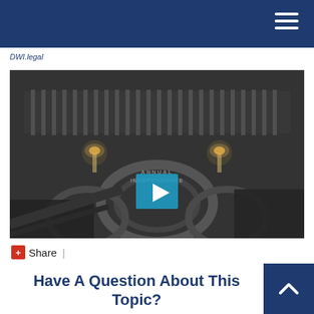Navigation header with hamburger menu
DWI.legal (breadcrumb/logo text)
[Figure (screenshot): Video thumbnail of a courtroom interior in dark/monochrome tones with arched architecture and wall sconces, featuring a cyan play button overlay. Video title text partially visible: 'ANNUAL INDEPENDENCE']
Share |
Have A Question About This Topic?